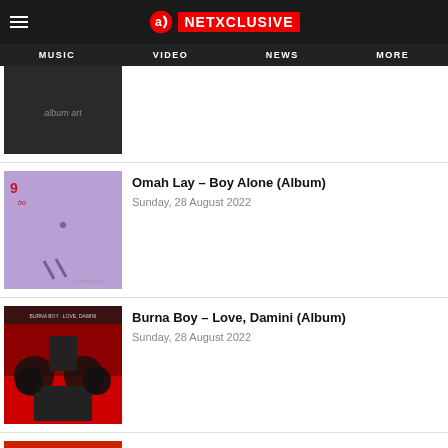NETXCLUSIVE — MUSIC | VIDEO | NEWS | MORE
[Figure (photo): Partial album art thumbnail (dark/black and white image) at top of list]
Omah Lay – Boy Alone (Album)
Sunday, 28 August 2022
Burna Boy – Love, Damini (Album)
Sunday, 28 August 2022
L.A.M.B – BEHOLD THE LAMB (Album)
Sunday, 28 August 2022